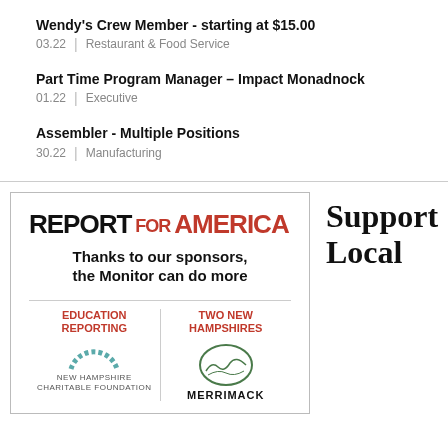Wendy's Crew Member - starting at $15.00
03.22 | Restaurant & Food Service
Part Time Program Manager – Impact Monadnock
01.22 | Executive
Assembler - Multiple Positions
30.22 | Manufacturing
[Figure (illustration): Report for America advertisement box featuring the logo, tagline 'Thanks to our sponsors, the Monitor can do more', with two columns: Education Reporting (New Hampshire Charitable Foundation) and Two New Hampshires (Merrimack)]
Support Local